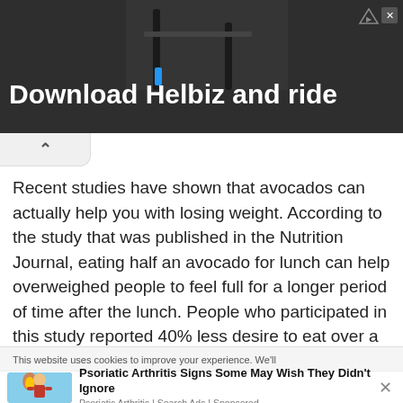[Figure (screenshot): Advertisement banner with dark background showing an electric scooter handlebar and the text 'Download Helbiz and ride' in bold white font. An ad icon (triangle with exclamation and X) appears in the top right corner.]
Recent studies have shown that avocados can actually help you with losing weight. According to the study that was published in the Nutrition Journal, eating half an avocado for lunch can help overweighed people to feel full for a longer period of time after the lunch. People who participated in this study reported 40% less desire to eat over a 3 hour period after the meal, and a 28% less desire over a 5
This website uses cookies to improve your experience. We'll
[Figure (screenshot): Bottom advertisement showing an illustration of a person with inflammation/pain and bold text: 'Psoriatic Arthritis Signs Some May Wish They Didn't Ignore' with source 'Psoriatic Arthritis | Search Ads | Sponsored']